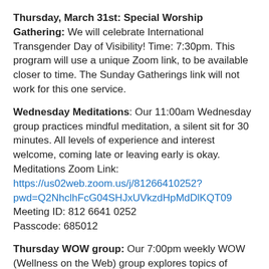Thursday, March 31st: Special Worship Gathering: We will celebrate International Transgender Day of Visibility! Time: 7:30pm. This program will use a unique Zoom link, to be available closer to time. The Sunday Gatherings link will not work for this one service.
Wednesday Meditations: Our 11:00am Wednesday group practices mindful meditation, a silent sit for 30 minutes. All levels of experience and interest welcome, coming late or leaving early is okay. Meditations Zoom Link: https://us02web.zoom.us/j/81266410252?pwd=Q2NhclhFcG04SHJxUVkzdHpMdDlKQT09 Meeting ID: 812 6641 0252 Passcode: 685012
Thursday WOW group: Our 7:00pm weekly WOW (Wellness on the Web) group explores topics of individual and societal wellness. Each week, recommended homework for the given topic is shared via our Google...